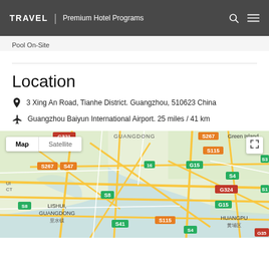TRAVEL | Premium Hotel Programs
Pool On-Site
Location
3 Xing An Road, Tianhe District. Guangzhou, 510623 China
Guangzhou Baiyun International Airport. 25 miles / 41 km
[Figure (map): Google Map showing Guangzhou area with road labels including G321, G324, G15, S115, S4, S8, S267, S41, S35, GUANGDONG, LISHUI GUANGDONG, HUANGPU labels. Map/Satellite toggle and fullscreen button visible.]